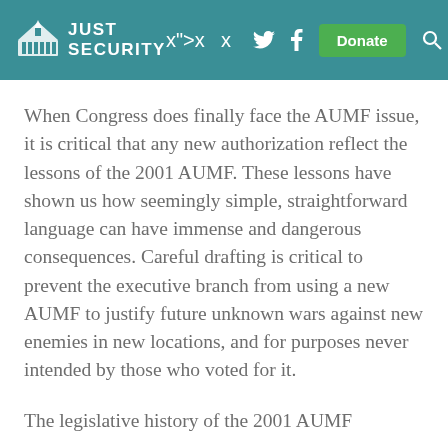JUST SECURITY
When Congress does finally face the AUMF issue, it is critical that any new authorization reflect the lessons of the 2001 AUMF. These lessons have shown us how seemingly simple, straightforward language can have immense and dangerous consequences. Careful drafting is critical to prevent the executive branch from using a new AUMF to justify future unknown wars against new enemies in new locations, and for purposes never intended by those who voted for it.
The legislative history of the 2001 AUMF